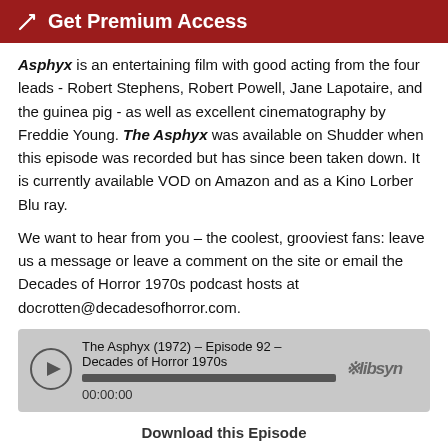Get Premium Access
Asphyx is an entertaining film with good acting from the four leads - Robert Stephens, Robert Powell, Jane Lapotaire, and the guinea pig - as well as excellent cinematography by Freddie Young. The Asphyx was available on Shudder when this episode was recorded but has since been taken down. It is currently available VOD on Amazon and as a Kino Lorber Blu ray.
We want to hear from you – the coolest, grooviest fans: leave us a message or leave a comment on the site or email the Decades of Horror 1970s podcast hosts at docrotten@decadesofhorror.com.
[Figure (other): Audio player showing: The Asphyx (1972) – Episode 92 – Decades of Horror 1970s, 00:00:00, with libsyn logo]
Download this Episode
Captain Marvel - Episode 315 - Horror News...
Mar 16, 2019
Ari Aster and A24 share the first trailer for MIDSOMMAR. Shudder's documentary HORROR NOIRE: THE HISTORY OF BLACK HORROR is essential viewing for genre fans. And, the Grue-Crew review CAPTAIN MARVEL.